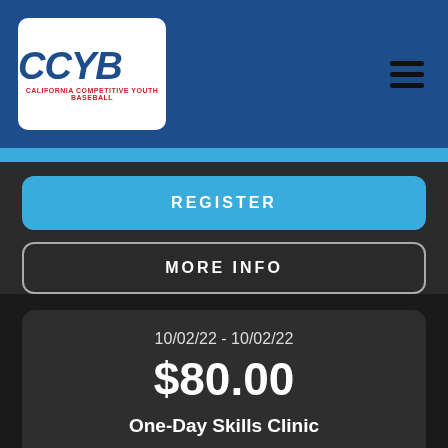CCYB - California Competitive Youth Baseball
REGISTER
MORE INFO
10/02/22 - 10/02/22
$80.00
One-Day Skills Clinic
Location: Lee's Summit West High School Softball Field - 2600 SW Ward Rd. Lee's Summit, MO 64082